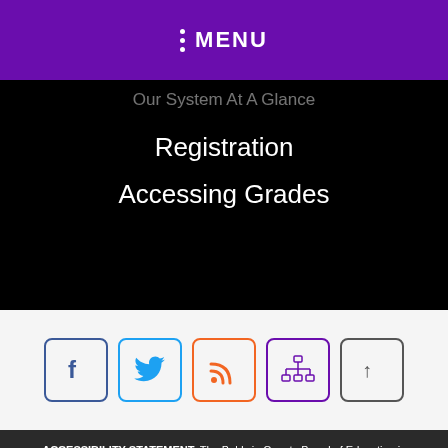MENU
Our System At A Glance
Registration
Accessing Grades
[Figure (other): Social media and navigation icon buttons: Facebook (blue), Twitter (light blue), RSS feed (orange), Site map (purple), Back to top (gray)]
ACCESSIBILITY STATEMENT: The Baldwin County Board of Education is committed to meeting accessibility of its website for students, parents, and members of the community, including those with disabilities. If you are experiencing accessibility issues on our website or would like to be involved in our accessibility initiatives, please see our accessibility page for options and contacts. The Baldwin County Board of Education's websites will be maintained in